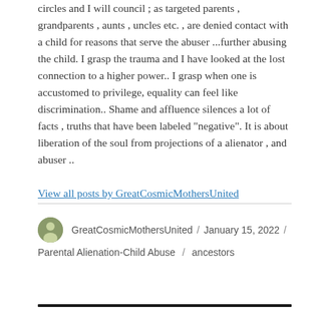circles and I will council ; as targeted parents , grandparents , aunts , uncles etc. , are denied contact with a child for reasons that serve the abuser ...further abusing the child. I grasp the trauma and I have looked at the lost connection to a higher power.. I grasp when one is accustomed to privilege, equality can feel like discrimination.. Shame and affluence silences a lot of facts , truths that have been labeled "negative". It is about liberation of the soul from projections of a alienator , and abuser ..
View all posts by GreatCosmicMothersUnited
GreatCosmicMothersUnited / January 15, 2022 / Parental Alienation-Child Abuse / ancestors